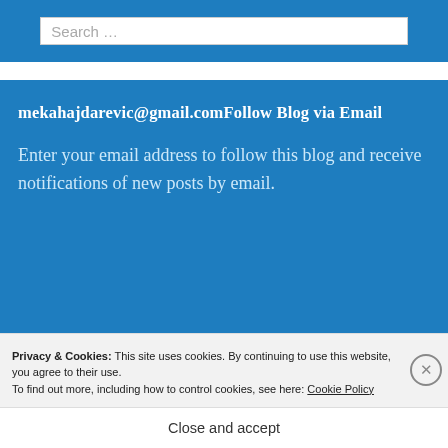Search ...
mekahajdarevic@gmail.comFollow Blog via Email
Enter your email address to follow this blog and receive notifications of new posts by email.
Privacy & Cookies: This site uses cookies. By continuing to use this website, you agree to their use. To find out more, including how to control cookies, see here: Cookie Policy
Close and accept